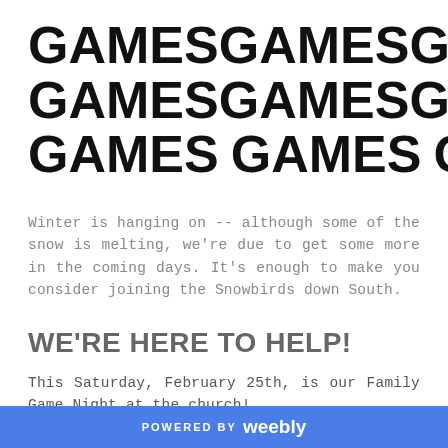GAMES GAMES GAMES GAMES GAMES GAMES GAMES GAMES GAMES
Winter is hanging on -- although some of the snow is melting, we're due to get some more in the coming days. It's enough to make you consider joining the Snowbirds down South.
WE'RE HERE TO HELP!
This Saturday, February 25th, is our Family Game Night at the church!
Come on down at 6:00 and bring your favorite snack to share as we have some fun together.
POWERED BY weebly